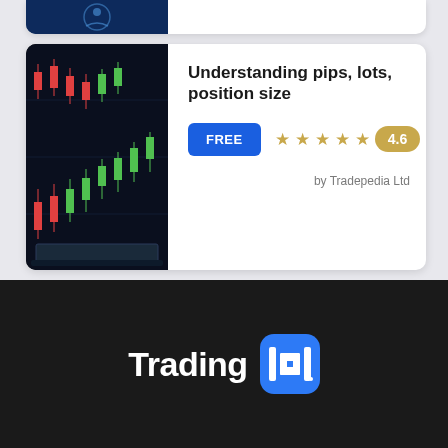[Figure (screenshot): Partially visible card with blue/dark trading chart image at top of page]
[Figure (screenshot): App listing card showing 'Understanding pips, lots, position size' with candlestick chart image, FREE badge, 4.6 star rating, by Tradepedia Ltd]
Understanding pips, lots, position size
FREE
4.6
by Tradepedia Ltd
[Figure (logo): Trading 101 logo — white text 'Trading' followed by blue rounded rectangle icon with '101' symbol, on dark background]